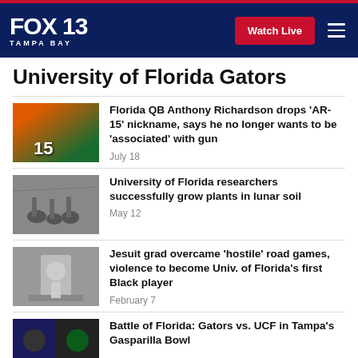FOX 13 TAMPA BAY — Watch Live
University of Florida Gators
[Figure (photo): Football players in blue and orange uniforms, jersey #15 visible]
Florida QB Anthony Richardson drops 'AR-15' nickname, says he no longer wants to be 'associated' with gun
July 18
[Figure (photo): Black and white photo of plants growing in small containers, lunar soil experiment]
University of Florida researchers successfully grow plants in lunar soil
May 12
[Figure (photo): Historic black and white photo of a person standing near a building]
Jesuit grad overcame 'hostile' road games, violence to become Univ. of Florida's first Black player
February 7
[Figure (photo): Football players in dark and light uniforms, Gasparilla Bowl game]
Battle of Florida: Gators vs. UCF in Tampa's Gasparilla Bowl